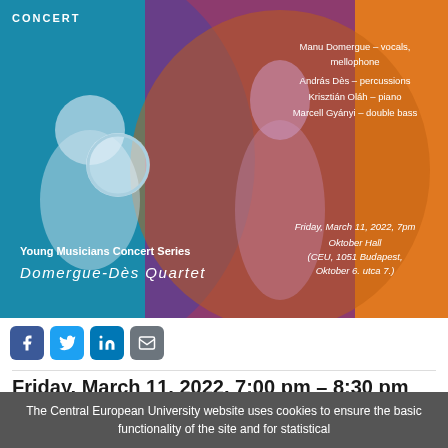[Figure (photo): Concert promotional banner for Young Musicians Concert Series – Domergue-Dès Quartet. Features teal, purple, and orange sections with two musician silhouettes. Lists performers: Manu Domergue – vocals, mellophone; András Dès – percussions; Krisztián Oláh – piano; Marcell Gyányi – double bass. Date: Friday, March 11, 2022, 7pm, Oktober Hall, CEU, 1051 Budapest, Oktober 6. utca 7.]
[Figure (infographic): Social media share icons: Facebook, Twitter, LinkedIn, Email]
Friday, March 11, 2022, 7:00 pm – 8:30 pm
Manu Domergue is a French singer, mellophone player and storyteller. András Dés is a Hungarian
The Central European University website uses cookies to ensure the basic functionality of the site and for statistical